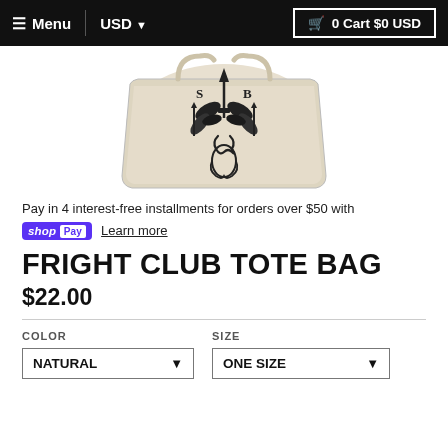☰ Menu  |  USD ▾       🛒 0 Cart $0 USD
[Figure (photo): Product photo of a beige/natural tote bag with a black tattoo-style illustration featuring a dagger, leaves, and rope design, with letters S and B visible]
Pay in 4 interest-free installments for orders over $50 with
shop Pay   Learn more
FRIGHT CLUB TOTE BAG
$22.00
COLOR
NATURAL ▾
SIZE
ONE SIZE ▾